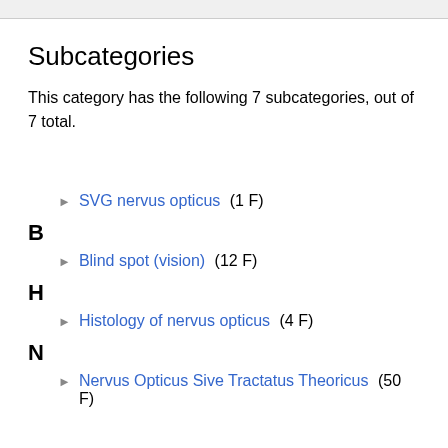Subcategories
This category has the following 7 subcategories, out of 7 total.
► SVG nervus opticus (1 F)
B
► Blind spot (vision) (12 F)
H
► Histology of nervus opticus (4 F)
N
► Nervus Opticus Sive Tractatus Theoricus (50 F)